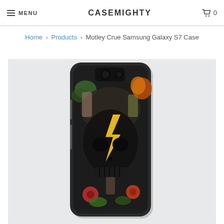MENU  CASEMIGHTY  0
Home > Products > Motley Crue Samsung Galaxy S7 Case
[Figure (photo): Samsung Galaxy S7 phone case with Motley Crue skull collage artwork featuring band imagery, flowers, and a lightning bolt design on a light gray background]